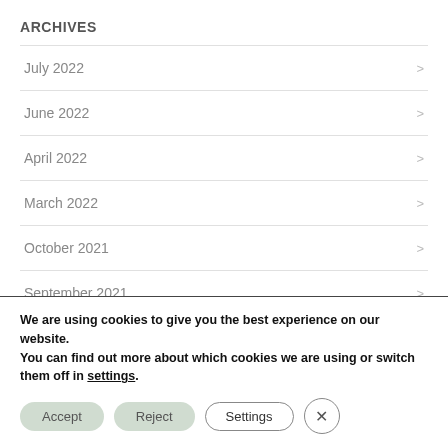ARCHIVES
July 2022
June 2022
April 2022
March 2022
October 2021
September 2021
We are using cookies to give you the best experience on our website.
You can find out more about which cookies we are using or switch them off in settings.